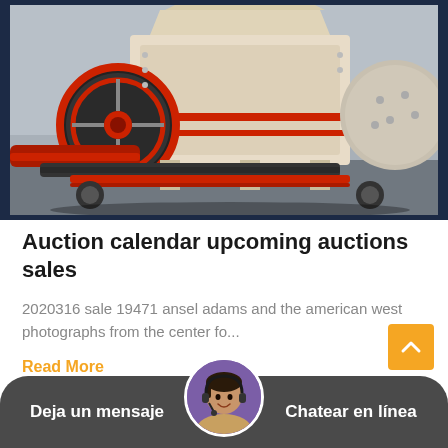[Figure (photo): Industrial heavy mining/crushing machinery (hammer mill or jaw crusher) in beige and red colors, with conveyor components, photographed in an industrial warehouse setting.]
Auction calendar upcoming auctions sales
2020316 sale 19471 ansel adams and the american west photographs from the center fo...
Read More
Deja un mensaje   Chatear en línea